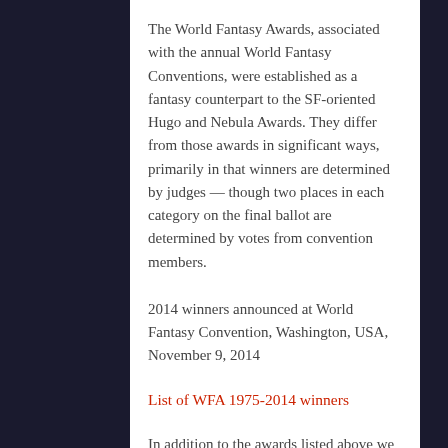The World Fantasy Awards, associated with the annual World Fantasy Conventions, were established as a fantasy counterpart to the SF-oriented Hugo and Nebula Awards. They differ from those awards in significant ways, primarily in that winners are determined by judges — though two places in each category on the final ballot are determined by votes from convention members.
2014 winners announced at World Fantasy Convention, Washington, USA, November 9, 2014
List of WFA 1975-2014 winners
In addition to the awards listed above we can also